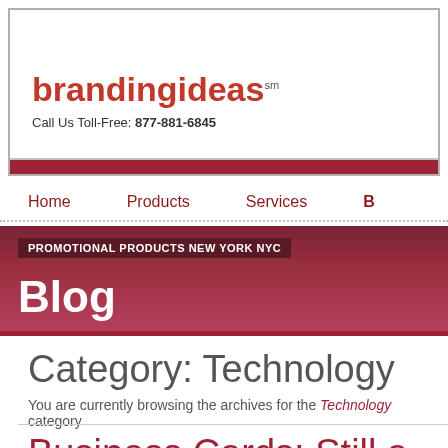brandingideas℠ — Call Us Toll-Free: 877-881-6845
Home  Products  Services  B
[Figure (other): Blog banner with text 'PROMOTIONAL PRODUCTS NEW YORK NYC' tag and large white 'Blog' title on dark red gradient background]
Category: Technology
You are currently browsing the archives for the Technology category
Business Cards: Still a Valuable N